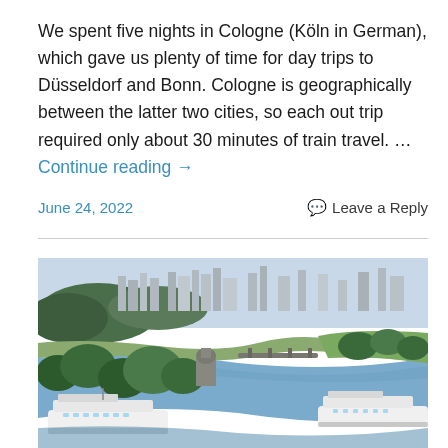We spent five nights in Cologne (Köln in German), which gave us plenty of time for day trips to Düsseldorf and Bonn. Cologne is geographically between the latter two cities, so each out trip required only about 30 minutes of train travel. … Continue reading →
June 24, 2022
Leave a Reply
[Figure (photo): Aerial view of a European river city (Koblenz) showing the confluence of two rivers, bridges, historic buildings, river cruise ships, and green trees, with a cityscape in the background.]